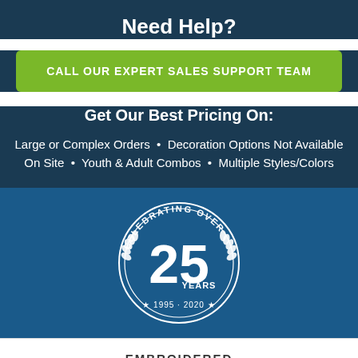Need Help?
CALL OUR EXPERT SALES SUPPORT TEAM
Get Our Best Pricing On:
Large or Complex Orders • Decoration Options Not Available On Site • Youth & Adult Combos • Multiple Styles/Colors
[Figure (logo): Circular badge reading 'CELEBRATING OVER 25 YEARS 1995-2020' with laurel wreath decoration]
EMBROIDERED
START DESIGNING